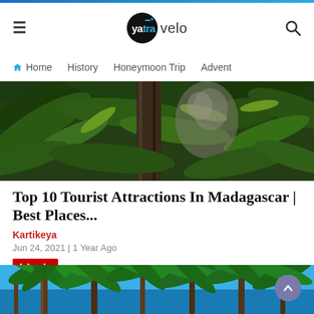yatravelo
Home  History  Honeymoon Trip  Advent
[Figure (photo): Close-up of tropical leaves and tree trunk with a lemur or animal partially visible, Madagascar wildlife]
Top 10 Tourist Attractions In Madagascar | Best Places...
Kartikeya
Jun 24, 2021 | 1 Year Ago
Islands
[Figure (photo): View looking up at tall palm trees against a bright blue sky, tropical beach destination]